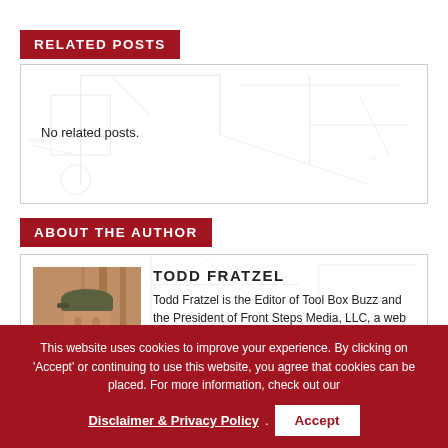RELATED POSTS
No related posts.
ABOUT THE AUTHOR
[Figure (photo): Photo of Todd Fratzel, a man wearing a cap and dark jacket, standing indoors with wooden framing visible in the background.]
TODD FRATZEL
Todd Fratzel is the Editor of Tool Box Buzz and the President of Front Steps Media, LLC, a web based media company focused on the Home
This website uses cookies to improve your experience. By clicking on 'Accept' or continuing to use this website, you agree that cookies can be placed. For more information, check out our
Disclaimer & Privacy Policy . Accept